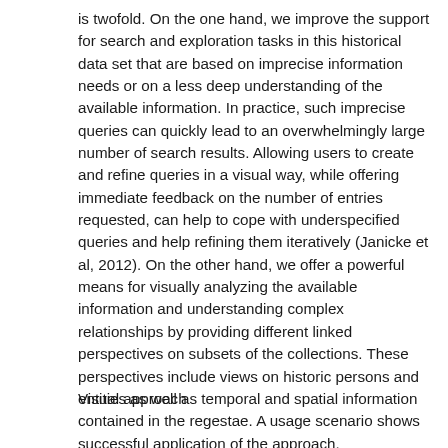is twofold. On the one hand, we improve the support for search and exploration tasks in this historical data set that are based on imprecise information needs or on a less deep understanding of the available information. In practice, such imprecise queries can quickly lead to an overwhelmingly large number of search results. Allowing users to create and refine queries in a visual way, while offering immediate feedback on the number of entries requested, can help to cope with underspecified queries and help refining them iteratively (Janicke et al, 2012). On the other hand, we offer a powerful means for visually analyzing the available information and understanding complex relationships by providing different linked perspectives on subsets of the collections. These perspectives include views on historic persons and entities as well as temporal and spatial information contained in the regestae. A usage scenario shows successful application of the approach.
Visual approach